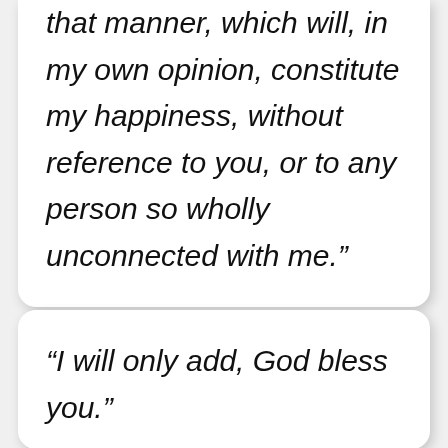“I am only resolved to act in that manner, which will, in my own opinion, constitute my happiness, without reference to you, or to any person so wholly unconnected with me.”
“I will only add, God bless you.”